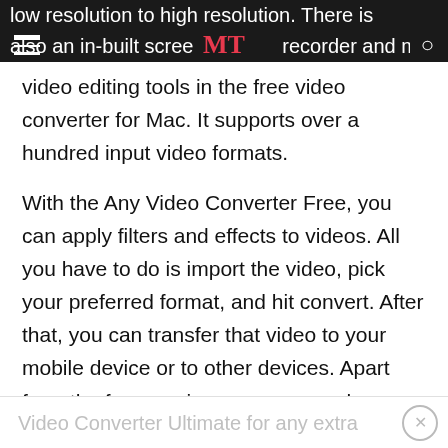MT
low resolution to high resolution. There is also an in-built screen recorder and many video editing tools in the free video converter for Mac. It supports over a hundred input video formats.
With the Any Video Converter Free, you can apply filters and effects to videos. All you have to do is import the video, pick your preferred format, and hit convert. After that, you can transfer that video to your mobile device or to other devices. Apart from the free version, you can purchase Any
Video Converter Ultimate for any extra